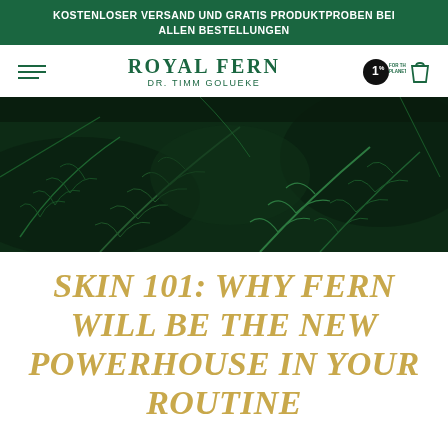KOSTENLOSER VERSAND UND GRATIS PRODUKTPROBEN BEI ALLEN BESTELLUNGEN
ROYAL FERN
DR. TIMM GOLUEKE
[Figure (photo): Close-up photograph of dark green fern leaves/fronds against a dark background]
SKIN 101: WHY FERN WILL BE THE NEW POWERHOUSE IN YOUR ROUTINE